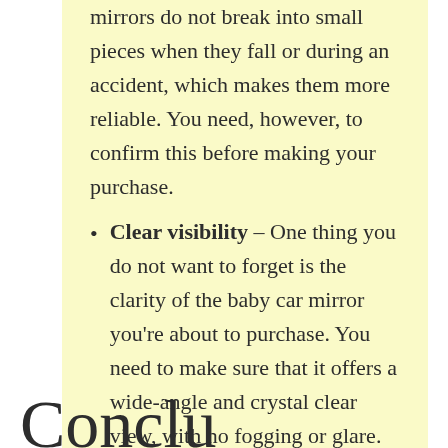mirrors do not break into small pieces when they fall or during an accident, which makes them more reliable. You need, however, to confirm this before making your purchase.
Clear visibility – One thing you do not want to forget is the clarity of the baby car mirror you're about to purchase. You need to make sure that it offers a wide-angle and crystal clear view, with no fogging or glare. That way you will be able to watch your baby during the day and also during the night, in all weather and light conditions.
Conclu...